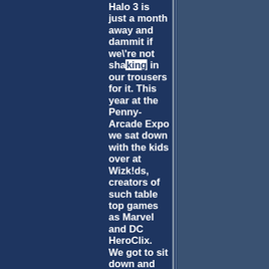Halo 3 is just a month away and dammit if we're not shaking in our trousers for it. This year at the Penny-Arcade Expo we sat down with the kids over at Wizk!ds, creators of such table top games as Marvel and DC HeroClix. We got to sit down and play the